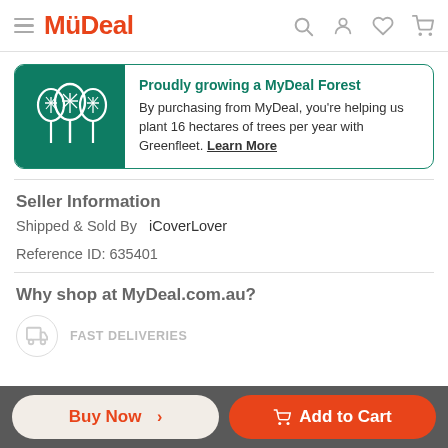MyDeal
[Figure (infographic): MyDeal Forest promotion banner with tree icons on teal background. Text: Proudly growing a MyDeal Forest — By purchasing from MyDeal, you're helping us plant 16 hectares of trees per year with Greenfleet. Learn More]
Seller Information
Shipped & Sold By  iCoverLover
Reference ID: 635401
Why shop at MyDeal.com.au?
FAST DELIVERIES
Buy Now >   Add to Cart